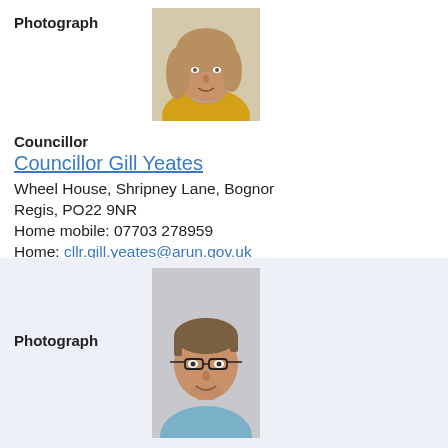Photograph
[Figure (photo): Photograph of Councillor Gill Yeates, a woman with light curly hair wearing a yellow top]
Councillor
Councillor Gill Yeates
Wheel House, Shripney Lane, Bognor Regis, PO22 9NR
Home mobile: 07703 278959
Home: cllr.gill.yeates@arun.gov.uk
Political party   Liberal Democrats
Ward   Bersted
Photograph
[Figure (photo): Photograph of a male councillor with short hair and glasses wearing a light blue shirt]